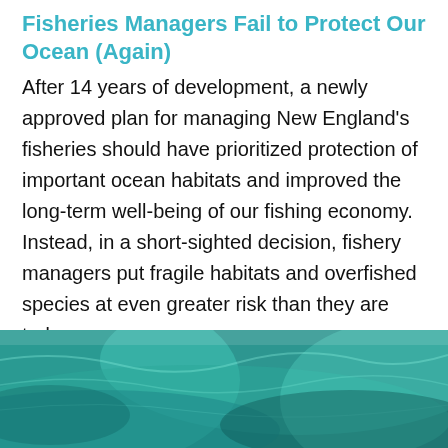Fisheries Managers Fail to Protect Our Ocean (Again)
After 14 years of development, a newly approved plan for managing New England's fisheries should have prioritized protection of important ocean habitats and improved the long-term well-being of our fishing economy. Instead, in a short-sighted decision, fishery managers put fragile habitats and overfished species at even greater risk than they are today.
[Figure (photo): Underwater ocean photo with blue-green teal tones showing murky water with light filtering through]